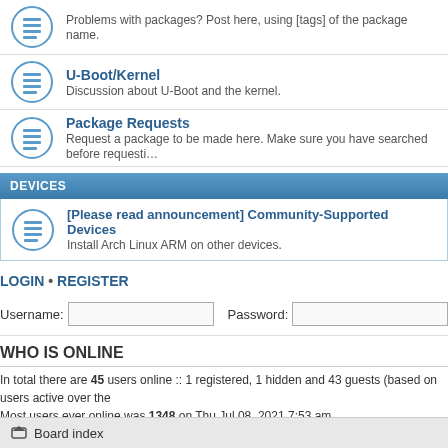Problems with packages? Post here, using [tags] of the package name.
U-Boot/Kernel
Discussion about U-Boot and the kernel.
Package Requests
Request a package to be made here. Make sure you have searched before requesting.
DEVICES
[Please read announcement] Community-Supported Devices
Install Arch Linux ARM on other devices.
LOGIN • REGISTER
Username: [input] Password: [input] | L
WHO IS ONLINE
In total there are 45 users online :: 1 registered, 1 hidden and 43 guests (based on users active over the last 5 minutes).
Most users ever online was 1348 on Thu Jul 08, 2021 7:53 am
Registered users: Google [Bot]
Legend: Administrators, Global moderators
STATISTICS
Total posts 58617 • Total topics 11305 • Total members 12222 • Our newest member Greatpi
Board index